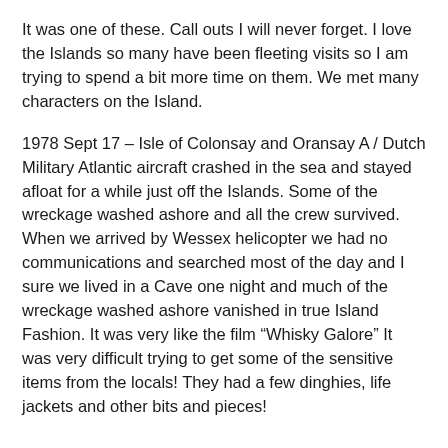It was one of these. Call outs I will never forget. I love the Islands so many have been fleeting visits so I am trying to spend a bit more time on them. We met many characters on the Island.
1978 Sept 17 – Isle of Colonsay and Oransay A / Dutch Military Atlantic aircraft crashed in the sea and stayed afloat for a while just off the Islands. Some of the wreckage washed ashore and all the crew survived. When we arrived by Wessex helicopter we had no communications and searched most of the day and I sure we lived in a Cave one night and much of the wreckage washed ashore vanished in true Island Fashion. It was very like the film “Whisky Galore” It was very difficult trying to get some of the sensitive items from the locals! They had a few dinghies, life jackets and other bits and pieces!